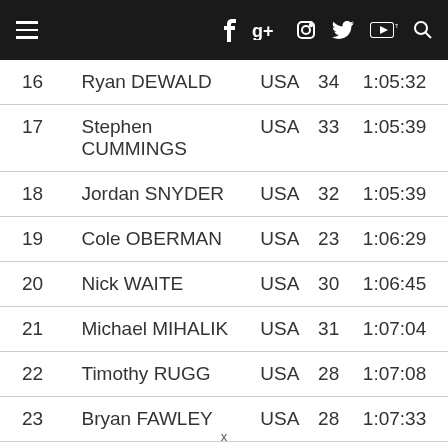Navigation bar with hamburger menu, social icons (Facebook, Google+, Instagram, Twitter, YouTube) and search
| Pos | Name | Country | Age | Time |
| --- | --- | --- | --- | --- |
| 16 | Ryan DEWALD | USA | 34 | 1:05:32 |
| 17 | Stephen CUMMINGS | USA | 33 | 1:05:39 |
| 18 | Jordan SNYDER | USA | 32 | 1:05:39 |
| 19 | Cole OBERMAN | USA | 23 | 1:06:29 |
| 20 | Nick WAITE | USA | 30 | 1:06:45 |
| 21 | Michael MIHALIK | USA | 31 | 1:07:04 |
| 22 | Timothy RUGG | USA | 28 | 1:07:08 |
| 23 | Bryan FAWLEY | USA | 28 | 1:07:33 |
| 24 | Tim VAN NUFFEL | BEL | 32 | 1:07:43 |
x